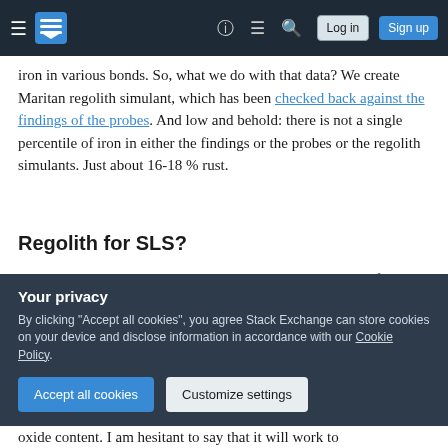Stack Exchange navigation bar with hamburger menu, logo, help, chat, search icons, Log in and Sign up buttons
iron in various bonds. So, what we do with that data? We create Maritan regolith simulant, which has been checked back against the findings of the probes. And low and behold: there is not a single percentile of iron in either the findings or the probes or the regolith simulants. Just about 16-18 % rust.
Regolith for SLS?
Now, we have regolith with a somewhat even distribution of rust in it. And we have a stimulant that can be acquired from Huston. To my knowledge, it
Your privacy
By clicking "Accept all cookies", you agree Stack Exchange can store cookies on your device and disclose information in accordance with our Cookie Policy.
Accept all cookies   Customize settings
oxide content. I am hesitant to say it will work to